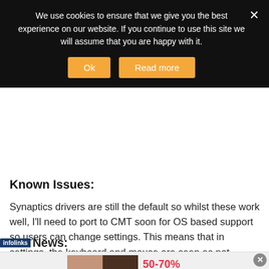We use cookies to ensure that we give you the best experience on our website. If you continue to use this site we will assume that you are happy with it.
Known Issues:
Synaptics drivers are still the default so whilst these work well, I'll need to port to CMT soon for OS based support so users can change settings. This means that in settings, the keyboard and mouse are seen as not detected (but still work fine).
News:
[Figure (screenshot): Aéropostale advertisement banner showing two models, text '50-70% off Everything!' in red and 'BUY NOW' button]